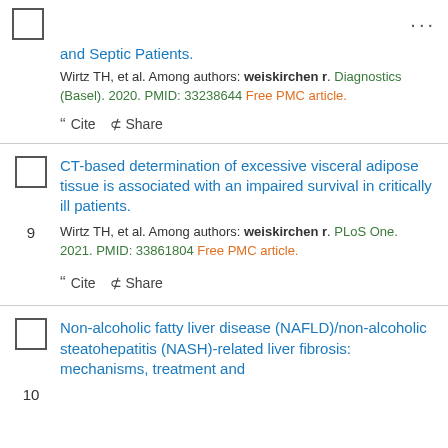and Septic Patients.
Wirtz TH, et al. Among authors: weiskirchen r. Diagnostics (Basel). 2020. PMID: 33238644 Free PMC article.
" Cite  Share
CT-based determination of excessive visceral adipose tissue is associated with an impaired survival in critically ill patients.
Wirtz TH, et al. Among authors: weiskirchen r. PLoS One. 2021. PMID: 33861804 Free PMC article.
" Cite  Share
Non-alcoholic fatty liver disease (NAFLD)/non-alcoholic steatohepatitis (NASH)-related liver fibrosis: mechanisms, treatment and